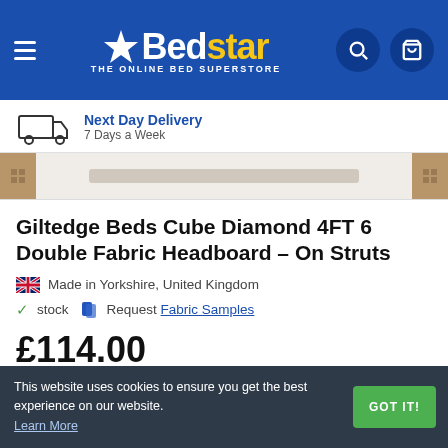Bedstar – THE ONLINE BED SUPERSTORE
Next Day Delivery – 7 Days a Week
[Figure (photo): Partial product image of a fabric headboard, showing padded panels and side struts]
Giltedge Beds Cube Diamond 4FT 6 Double Fabric Headboard – On Struts
🇬🇧 Made in Yorkshire, United Kingdom
✓ stock  🎨 Request Fabric Samples
£114.00
This website uses cookies to ensure you get the best experience on our website. Learn More